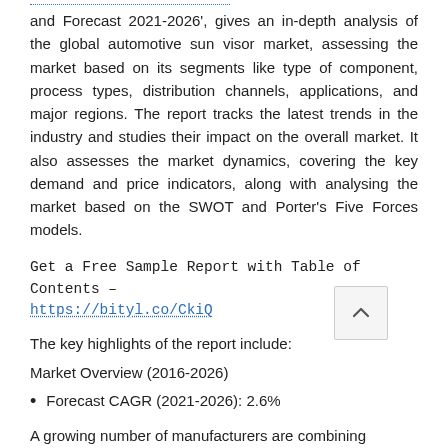…………………………………………
and Forecast 2021-2026', gives an in-depth analysis of the global automotive sun visor market, assessing the market based on its segments like type of component, process types, distribution channels, applications, and major regions. The report tracks the latest trends in the industry and studies their impact on the overall market. It also assesses the market dynamics, covering the key demand and price indicators, along with analysing the market based on the SWOT and Porter's Five Forces models.
Get a Free Sample Report with Table of Contents – https://bityl.co/CkiQ
The key highlights of the report include:
Market Overview (2016-2026)
Forecast CAGR (2021-2026): 2.6%
A growing number of manufacturers are combining